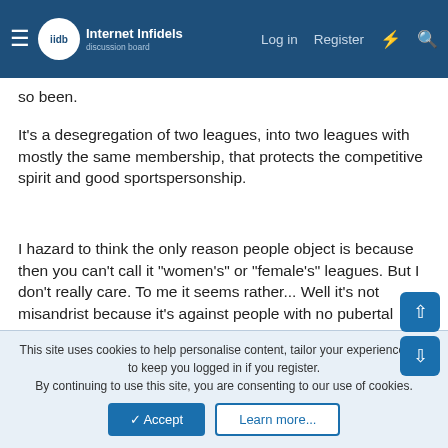Internet Infidels — Log in | Register
so been.
It's a desegregation of two leagues, into two leagues with mostly the same membership, that protects the competitive spirit and good sportspersonship.
I hazard to think the only reason people object is because then you can't call it "women's" or "female's" leagues. But I don't really care. To me it seems rather... Well it's not misandrist because it's against people with no pubertal androgen affect. But is definitely misaligned.
TomC — Celestial Highness | Joined: Oct 1, 2020 | Messages: 4,705 | Location: Midwestern USA
This site uses cookies to help personalise content, tailor your experience and to keep you logged in if you register.
By continuing to use this site, you are consenting to our use of cookies.